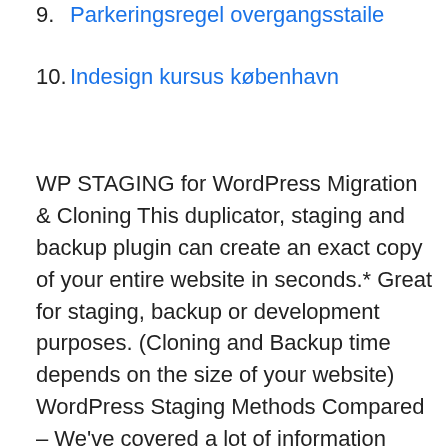9. Parkeringsregel overgangsstaile
10. Indesign kursus københavn
WP STAGING for WordPress Migration & Cloning This duplicator, staging and backup plugin can create an exact copy of your entire website in seconds.* Great for staging, backup or development purposes. (Cloning and Backup time depends on the size of your website) WordPress Staging Methods Compared – We've covered a lot of information about WordPress staging environments and the different ways you can create them. If you're feeling a little overwhelmed with options, here's a quick breakdown of what each method has to offer: 2021-03-31 · Duplicator is one of the most popular WordPress migration tools that can be used to create staging sites with ease. It promises that